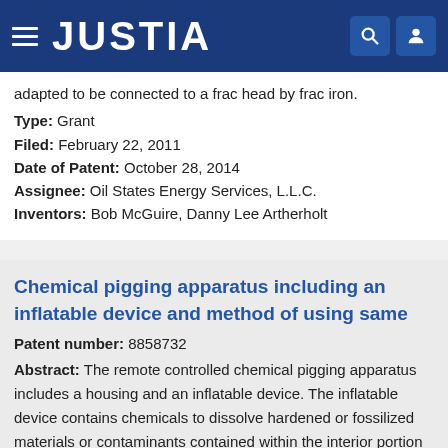JUSTIA
adapted to be connected to a frac head by frac iron.
Type: Grant
Filed: February 22, 2011
Date of Patent: October 28, 2014
Assignee: Oil States Energy Services, L.L.C.
Inventors: Bob McGuire, Danny Lee Artherholt
Chemical pigging apparatus including an inflatable device and method of using same
Patent number: 8858732
Abstract: The remote controlled chemical pigging apparatus includes a housing and an inflatable device. The inflatable device contains chemicals to dissolve hardened or fossilized materials or contaminants contained within the interior portion of a pipeline, such as an oil or gas pipeline. At a specific location in the pipeline, and contaminants or a portion of